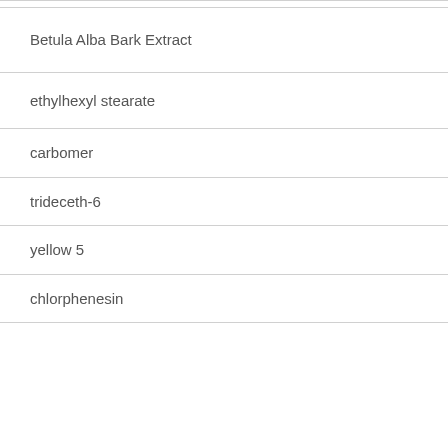| Betula Alba Bark Extract |
| ethylhexyl stearate |
| carbomer |
| trideceth-6 |
| yellow 5 |
| chlorphenesin |
|  |